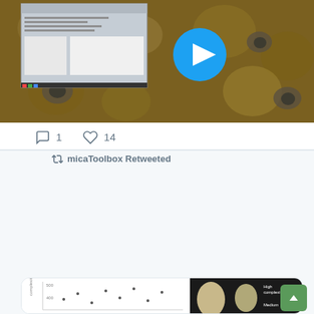[Figure (screenshot): Video thumbnail showing coral/anemone image with a blue play button overlay and a screen/window overlay in the top-left]
1   14
micaToolbox Retweeted
Tanmay Dixit @T_Dixit123 · Jul 13
Out in @RSocPublishing #ProcB: A biologically-relevant measure of egg pattern complexity predicts the rejection of eggs by hosts of brood parasites, according to Weber's Law.
royalsocietypublishing.org/doi/10.1098/rs...
[Figure (screenshot): Embedded tweet card showing a scatter plot of egg complexity data and egg images labeled High complexity and Medium]